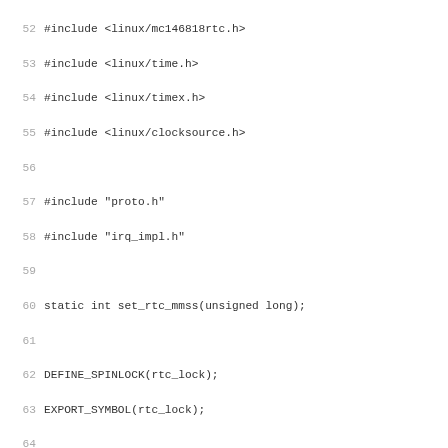52 #include <linux/mc146818rtc.h>
53 #include <linux/time.h>
54 #include <linux/timex.h>
55 #include <linux/clocksource.h>
56 
57 #include "proto.h"
58 #include "irq_impl.h"
59 
60 static int set_rtc_mmss(unsigned long);
61 
62 DEFINE_SPINLOCK(rtc_lock);
63 EXPORT_SYMBOL(rtc_lock);
64 
65 #define TICK_SIZE (tick_nsec / 1000)
66 
67 /*
68  * Shift amount by which scaled_ticks_per_cycle is sca
69  * by 48 gives us 16 bits for HZ while keeping the accu
70  * for large CPU clock rates.
71  */
72 #define FIX_SHIFT        48
73 
74 /* lump static variables together for more efficient ac
75 static struct {
76         /* cycle counter last time it got invoked */
77         __u32 last_time;
78         /* ticks/cycle * 2^48 */
79         unsigned long scaled_ticks_per_cycle;
80         /* partial unused tick */
81         unsigned long partial_tick;
82 } state;
83